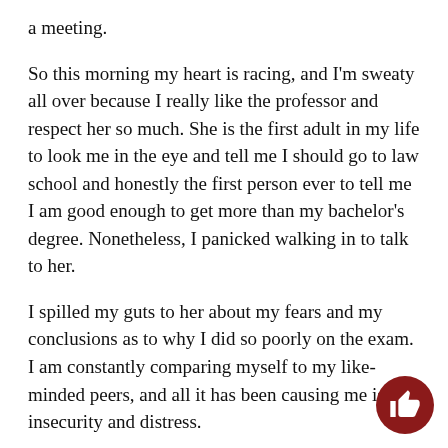a meeting.
So this morning my heart is racing, and I'm sweaty all over because I really like the professor and respect her so much. She is the first adult in my life to look me in the eye and tell me I should go to law school and honestly the first person ever to tell me I am good enough to get more than my bachelor's degree. Nonetheless, I panicked walking in to talk to her.
I spilled my guts to her about my fears and my conclusions as to why I did so poorly on the exam. I am constantly comparing myself to my like-minded peers, and all it has been causing me is insecurity and distress.
I am finally graduating. I know many of my fellow students have either done it already or will be doing soon, and it's no big deal because that's the whole